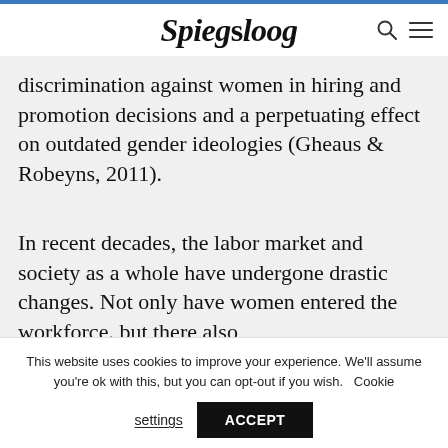Spiegsloog
discrimination against women in hiring and promotion decisions and a perpetuating effect on outdated gender ideologies (Gheaus & Robeyns, 2011).
In recent decades, the labor market and society as a whole have undergone drastic changes. Not only have women entered the workforce. but there also
This website uses cookies to improve your experience. We'll assume you're ok with this, but you can opt-out if you wish. Cookie settings ACCEPT